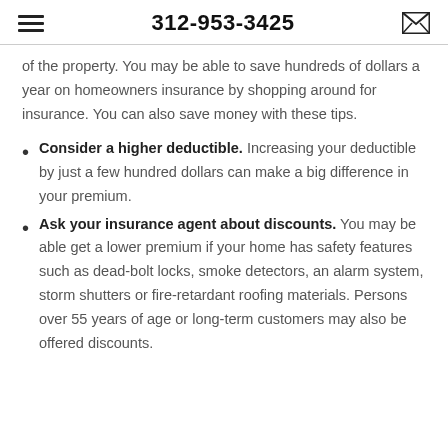312-953-3425
of the property. You may be able to save hundreds of dollars a year on homeowners insurance by shopping around for insurance. You can also save money with these tips.
Consider a higher deductible. Increasing your deductible by just a few hundred dollars can make a big difference in your premium.
Ask your insurance agent about discounts. You may be able get a lower premium if your home has safety features such as dead-bolt locks, smoke detectors, an alarm system, storm shutters or fire-retardant roofing materials. Persons over 55 years of age or long-term customers may also be offered discounts.